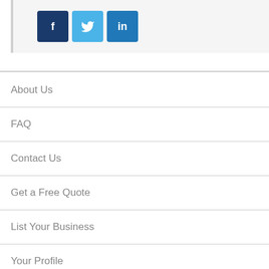[Figure (infographic): Social media icon buttons: Facebook (dark blue, 'f'), Twitter (light blue, bird icon), LinkedIn (medium blue, 'in')]
About Us
FAQ
Contact Us
Get a Free Quote
List Your Business
Your Profile